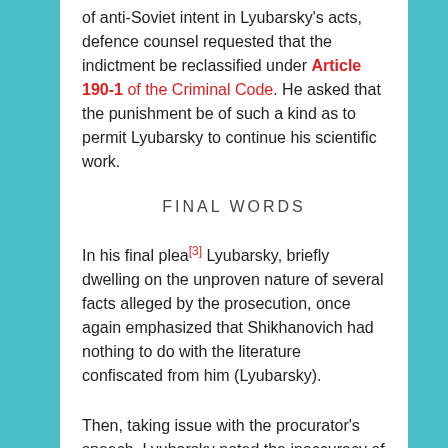of anti-Soviet intent in Lyubarsky's acts, defence counsel requested that the indictment be reclassified under Article 190-1 of the Criminal Code. He asked that the punishment be of such a kind as to permit Lyubarsky to continue his scientific work.
FINAL WORDS
In his final plea[3] Lyubarsky, briefly dwelling on the unproven nature of several facts alleged by the prosecution, once again emphasized that Shikhanovich had nothing to do with the literature confiscated from him (Lyubarsky).
Then, taking issue with the procurator's speech, Lyubarsky noted the inaccuracy of the criteria applied in settling the question as to the degree of criminality of one work or another.